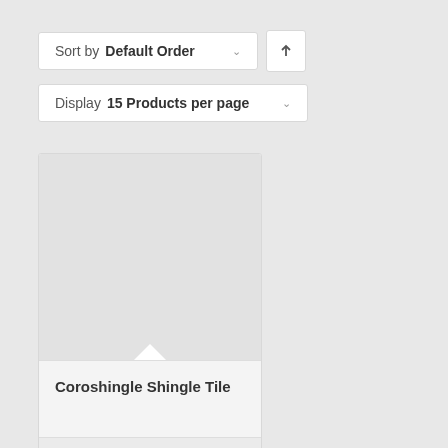Sort by Default Order
Display 15 Products per page
Coroshingle Shingle Tile
Ariel Plastics